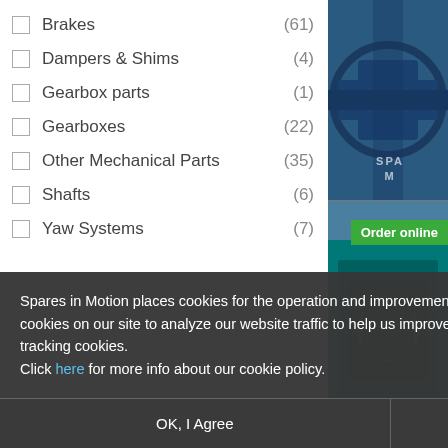Brakes (61)
Dampers & Shims (4)
Gearbox parts (1)
Gearboxes (22)
Other Mechanical Parts (35)
Shafts (6)
Yaw Systems (7)
[Figure (photo): Blue industrial gearbox/mechanical equipment photographed in a workshop setting with 'SPA M' text visible]
[Figure (photo): Teal/blue industrial machinery with 'Order online' green badge overlay]
Spares in Motion places cookies for the operation and improvement of this website. In addition, we use tracking cookies on our site to analyze our website traffic to help us improve our service. Click yes to agree with these tracking cookies.
Click here for more info about our cookie policy.
OK, I Agree
No, Thanks